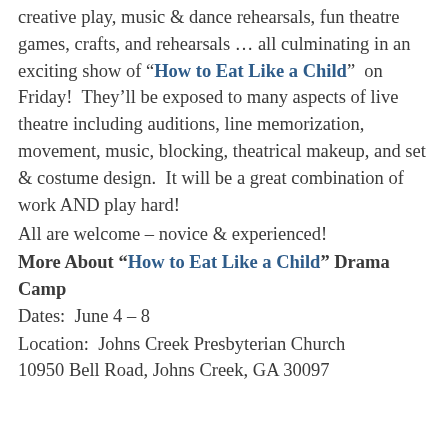creative play, music & dance rehearsals, fun theatre games, crafts, and rehearsals … all culminating in an exciting show of “How to Eat Like a Child”  on Friday!  They’ll be exposed to many aspects of live theatre including auditions, line memorization, movement, music, blocking, theatrical makeup, and set & costume design.  It will be a great combination of work AND play hard!
All are welcome – novice & experienced!
More About “How to Eat Like a Child” Drama Camp
Dates:  June 4 – 8
Location:  Johns Creek Presbyterian Church
10950 Bell Road, Johns Creek, GA 30097